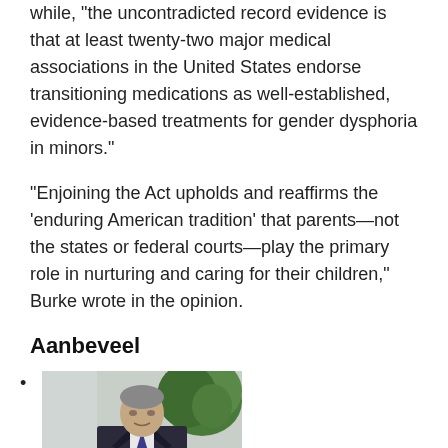while, "the uncontradicted record evidence is that at least twenty-two major medical associations in the United States endorse transitioning medications as well-established, evidence-based treatments for gender dysphoria in minors."
"Enjoining the Act upholds and reaffirms the ‘enduring American tradition’ that parents—not the states or federal courts—play the primary role in nurturing and caring for their children," Burke wrote in the opinion.
Aanbeveel
[Figure (photo): A man in a dark suit sitting at a desk, with plants visible in the background.]